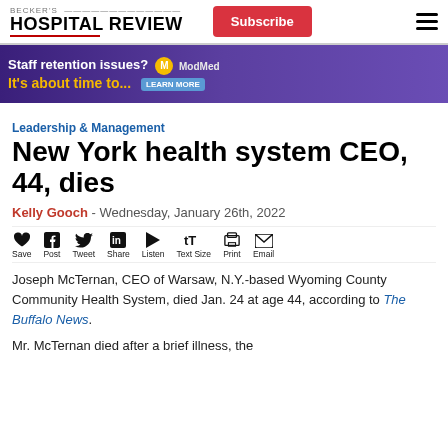BECKER'S HOSPITAL REVIEW | Subscribe
[Figure (infographic): Purple advertisement banner: 'Staff retention issues? It's about time to... ModMed LEARN MORE']
Leadership & Management
New York health system CEO, 44, dies
Kelly Gooch - Wednesday, January 26th, 2022
[Figure (infographic): Social sharing toolbar with icons: Save (heart), Post (facebook), Tweet (twitter), Share (linkedin), Listen (play), Text Size, Print, Email]
Joseph McTernan, CEO of Warsaw, N.Y.-based Wyoming County Community Health System, died Jan. 24 at age 44, according to The Buffalo News.
Mr. McTernan died after a brief illness, the